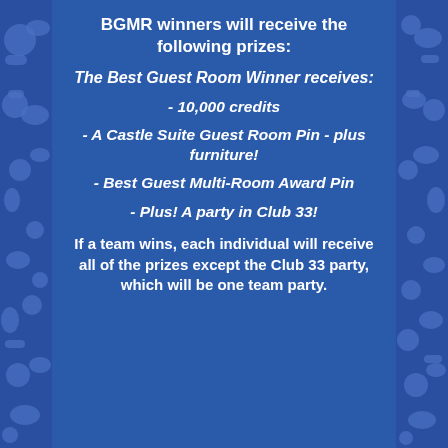BGMR winners will receive the following prizes:
The Best Guest Room Winner receives:
- 10,000 credits
- A Castle Suite Guest Room Pin - plus furniture!
- Best Guest Multi-Room Award Pin
- Plus! A party in Club 33!
If a team wins, each individual will receive all of the prizes except the Club 33 party, which will be one team party.